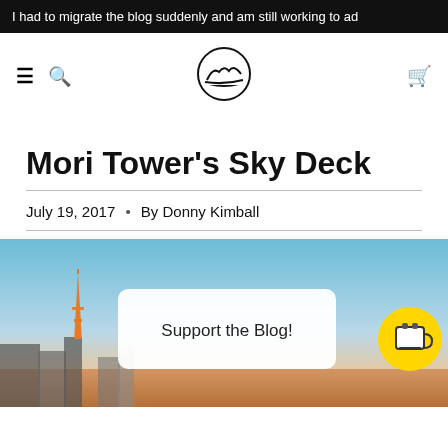I had to migrate the blog suddenly and am still working to ad
[Figure (logo): Navigation bar with hamburger menu, search icon, circular mountain/landscape logo in center, and cart icon on the right]
Mori Tower's Sky Deck
July 19, 2017 • By Donny Kimball
[Figure (photo): City skyline at dusk/sunset with Tokyo Tower visible, warm orange and pink hues at the base, blue sky above. Overlay shows a white rounded rectangle with 'Support the Blog!' text and a yellow circle button with coffee cup icon.]